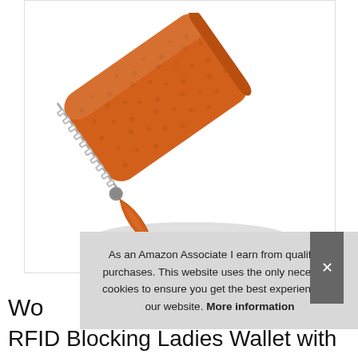[Figure (photo): Orange leather zip-around wallet photographed at a diagonal angle against a white background, showing a silver zipper and teardrop zipper pull tab.]
As an Amazon Associate I earn from qualifying purchases. This website uses the only necessary cookies to ensure you get the best experience on our website. More information
Wo
RFID Blocking Ladies Wallet with